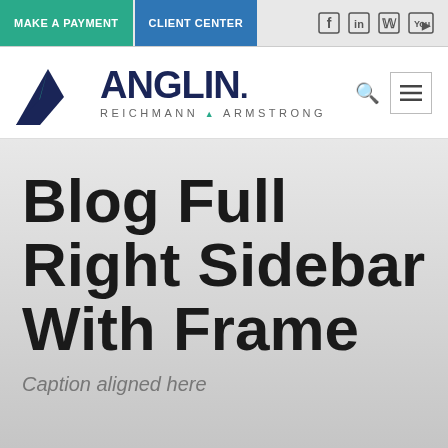MAKE A PAYMENT | CLIENT CENTER
[Figure (logo): Anglin Reichmann Armstrong logo with triangular mountain graphic in blue and teal, company name ANGLIN in dark navy, and subtitle REICHMANN ARMSTRONG]
Blog Full Right Sidebar With Frame
Caption aligned here